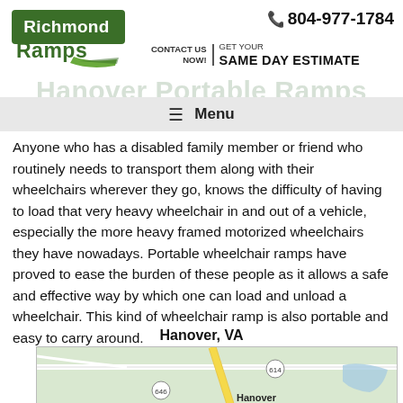[Figure (logo): Richmond Ramps logo with green text and swoosh graphic]
804-977-1784
CONTACT US NOW! | GET YOUR SAME DAY ESTIMATE
Hanover Portable Ramps
≡ Menu
Anyone who has a disabled family member or friend who routinely needs to transport them along with their wheelchairs wherever they go, knows the difficulty of having to load that very heavy wheelchair in and out of a vehicle, especially the more heavy framed motorized wheelchairs they have nowadays. Portable wheelchair ramps have proved to ease the burden of these people as it allows a safe and effective way by which one can load and unload a wheelchair. This kind of wheelchair ramp is also portable and easy to carry around.
Hanover, VA
[Figure (map): Map of Hanover, VA showing roads 614 and 646 and the Hanover area]